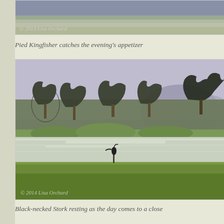[Figure (photo): Top portion of photo showing water/sky with copyright watermark '© 2014 Lisa Orchard']
Pied Kingfisher catches the evening's appetizer
[Figure (photo): Landscape photo of Black-necked Stork standing near a lake with trees in background and green grass in foreground. Copyright watermark '© 2014 Lisa Orchard']
Black-necked Stork resting as the day comes to a close
Can Never Get Enough of the Ellies!